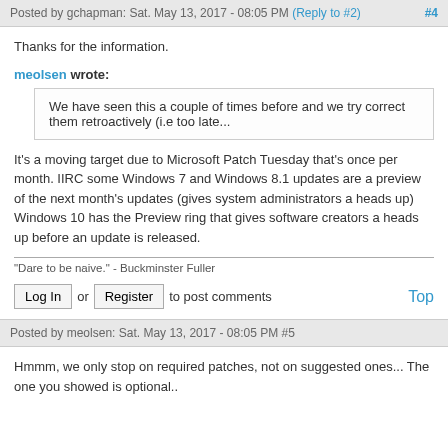Posted by gchapman: Sat. May 13, 2017 - 08:05 PM (Reply to #2) #4
Thanks for the information.
meolsen wrote:
We have seen this a couple of times before and we try correct them retroactively (i.e too late...
It's a moving target due to Microsoft Patch Tuesday that's once per month. IIRC some Windows 7 and Windows 8.1 updates are a preview of the next month's updates (gives system administrators a heads up)
Windows 10 has the Preview ring that gives software creators a heads up before an update is released.
"Dare to be naive." - Buckminster Fuller
Log In or Register to post comments  Top
Posted by meolsen: Sat. May 13, 2017 - 08:05 PM #5
Hmmm, we only stop on required patches, not on suggested ones... The one you showed is optional..